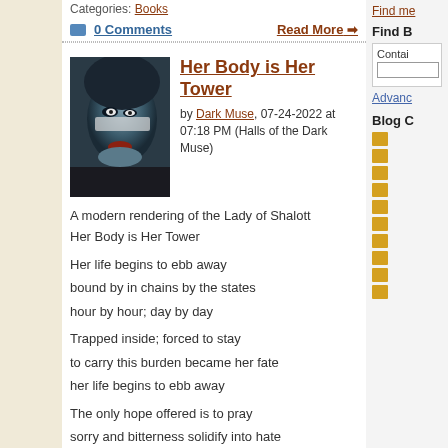Categories: Books
0 Comments    Read More →
Her Body is Her Tower
by Dark Muse, 07-24-2022 at 07:18 PM (Halls of the Dark Muse)
A modern rendering of the Lady of Shalott
Her Body is Her Tower

Her life begins to ebb away
bound by in chains by the states
hour by hour; day by day

Trapped inside; forced to stay
to carry this burden became her fate
her life begins to ebb away

The only hope offered is to pray
sorry and bitterness solidify into hate
hour by hour; day by day

All her emotions shades of gray

...
Categories: My Poetry
Find me
Find B
Contains
Advance
Blog C